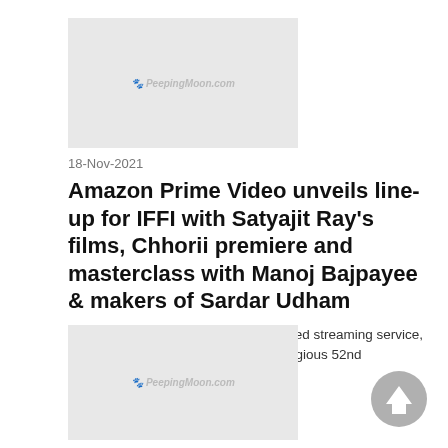[Figure (logo): PeepingMoon.com logo inside a light gray thumbnail box]
18-Nov-2021
Amazon Prime Video unveils line-up for IFFI with Satyajit Ray’s films, Chhorii premiere and masterclass with Manoj Bajpayee & makers of Sardar Udham
Amazon Prime Video, India’s most loved streaming service, today unveiled its line-up for the prestigious 52nd International Film Festival of.....
Read More
[Figure (logo): PeepingMoon.com logo inside a light gray thumbnail box]
16 Nov 2021
[Figure (illustration): Gray circular scroll-to-top arrow button]